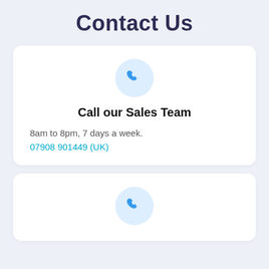Contact Us
Call our Sales Team
8am to 8pm, 7 days a week.
07908 901449 (UK)
[Figure (illustration): Blue phone handset icon inside a light blue circle, repeated twice for two contact cards]